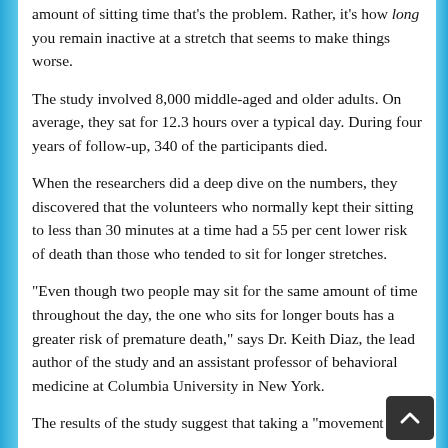amount of sitting time that's the problem. Rather, it's how long you remain inactive at a stretch that seems to make things worse.
The study involved 8,000 middle-aged and older adults.  On average, they sat for 12.3 hours over a typical day. During four years of follow-up, 340 of the participants died.
When the researchers did a deep dive on the numbers, they discovered that the volunteers who normally kept their sitting to less than 30 minutes at a time had a 55 per cent lower risk of death than those who tended to sit for longer stretches.
“Even though two people may sit for the same amount of time throughout the day, the one who sits for longer bouts has a greater risk of premature death,” says Dr. Keith Diaz, the lead author of the study and an assistant professor of behavioral medicine at Columbia University in New York.
The results of the study suggest that taking a “moveme… break” every half hour… is one of the most…